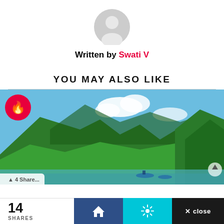[Figure (illustration): Grey circular default user avatar icon]
Written by Swati V
YOU MAY ALSO LIKE
[Figure (photo): Landscape photo of lush green mountains with blue sky, a river/lake in the foreground with boats and people, with a red fire/trending badge overlay in the top-left corner]
14 SHARES
[Figure (other): Bottom navigation bar with home icon (dark blue), settings/brightness icon (cyan), and close button (dark/black)]